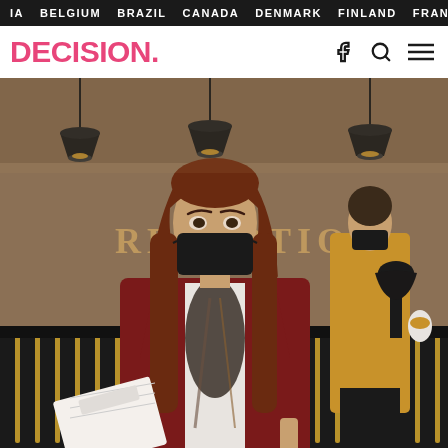IA  BELGIUM  BRAZIL  CANADA  DENMARK  FINLAND  FRANCE
DECISION.
[Figure (photo): Two women wearing face masks standing in a hotel reception area. The foreground woman has long auburn hair, wearing a dark red blazer, white blouse, and a patterned scarf, holding an open binder/document. Behind her is a second woman in a yellow blazer and black pants, also masked. The background shows 'RECEPTION' text on the wall, hanging black pendant lights, and a dark reception desk with gold vertical elements.]